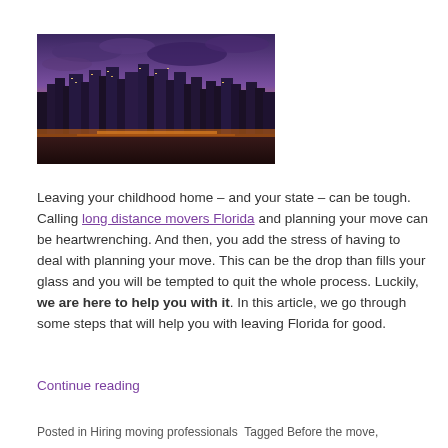[Figure (photo): Aerial cityscape photo of a city skyline at dusk/night with purple and orange sky, tall buildings lit up, taken from above]
Leaving your childhood home – and your state – can be tough. Calling long distance movers Florida and planning your move can be heartwrenching. And then, you add the stress of having to deal with planning your move. This can be the drop than fills your glass and you will be tempted to quit the whole process. Luckily, we are here to help you with it. In this article, we go through some steps that will help you with leaving Florida for good.
Continue reading
Posted in Hiring moving professionals Tagged Before the move,